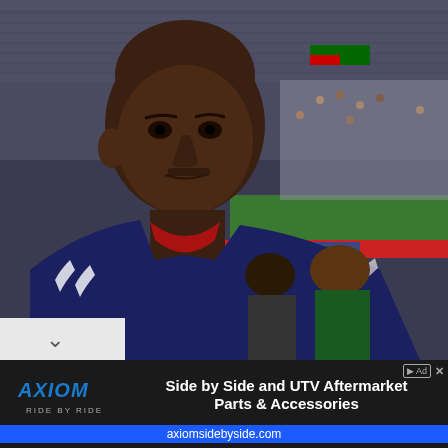[Figure (photo): A man wearing a navy blue jacket with red collar (polo-style) and white stripes stands in the foreground at a sports stadium. He is bald and looking directly at the camera with a serious expression. Behind him is a crowded stadium with spectators, green sports field visible in the background, and advertising boards. Other people are visible behind him.]
[Figure (logo): AXIOM RIDE BY RIDE logo in blue metallic lettering on dark background]
Side by Side and UTV Aftermarket Parts & Accessories
axiomsidebyside.com